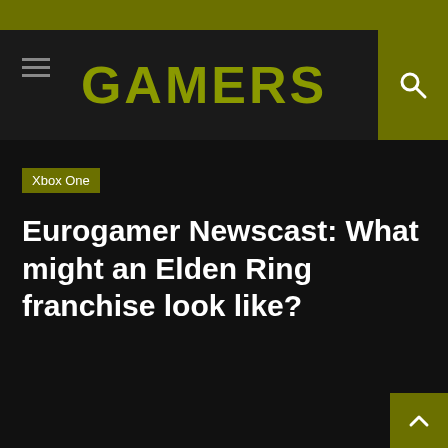GAMERS
Xbox One
Eurogamer Newscast: What might an Elden Ring franchise look like?